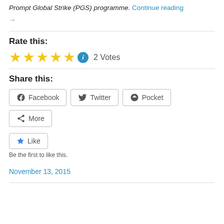Prompt Global Strike (PGS) programme. Continue reading →
Rate this:
★★★★★ ⓘ 2 Votes
Share this:
Facebook  Twitter  Pocket  More
Like
Be the first to like this.
November 13, 2015